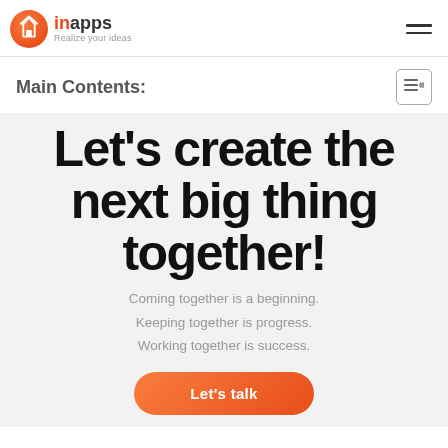[Figure (logo): InApps logo with orange gradient circle containing a white house/location icon, and 'inapps' text in orange and dark grey with tagline 'Realize your ideas']
Main Contents:
Let's create the next big thing together!
Coming together is a beginning. Keeping together is progress. Working together is success.
Let's talk